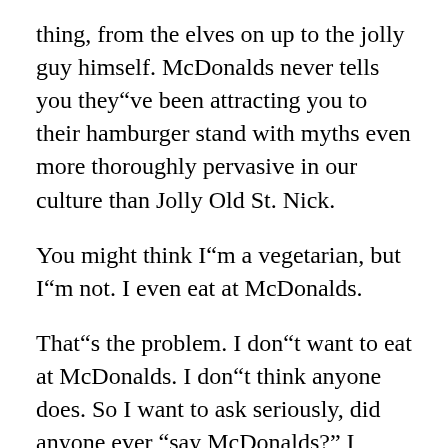thing, from the elves on up to the jolly guy himself. McDonalds never tells you they"ve been attracting you to their hamburger stand with myths even more thoroughly pervasive in our culture than Jolly Old St. Nick.
You might think I"m a vegetarian, but I"m not. I even eat at McDonalds.
That"s the problem. I don"t want to eat at McDonalds. I don"t think anyone does. So I want to ask seriously, did anyone ever “say McDonalds?” I know I never did. People say, “I"m hungry” or “I"m in a hurry.” They don"t get excited about getting fast food. Maybe it"s because we"re all comparably rich and comparably fat and too rushed to think about